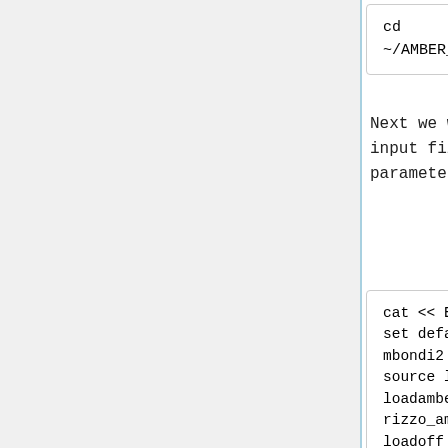cd
~/AMBER_Tutorial/002.TLEAP
Next we will write the following files that you will need to input files for LEAP in order to create your parameter/topology files and your coordinate files
cat << EOF > tleap.lig.in
set default PBradii mbondi2
source leaprc.ff99SB
loadamberparams rizzo_amber7.ionparms/parm.e16.
loadoff rizzo_amber7.ionparms/ions.lib
loadamberparams rizzo_amber7.ionparms/ions.frcm
source leaprc.gaff
loadamberparams rizzo_amber7.ionparms/gaff.dat.
loadamberparams 1df8.lig.ante.frcmod